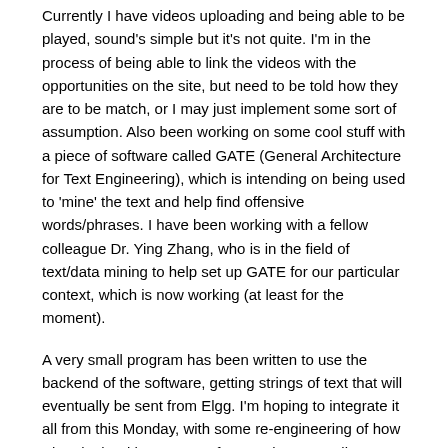Currently I have videos uploading and being able to be played, sound's simple but it's not quite. I'm in the process of being able to link the videos with the opportunities on the site, but need to be told how they are to be match, or I may just implement some sort of assumption. Also been working on some cool stuff with a piece of software called GATE (General Architecture for Text Engineering), which is intending on being used to 'mine' the text and help find offensive words/phrases. I have been working with a fellow colleague Dr. Ying Zhang, who is in the field of text/data mining to help set up GATE for our particular context, which is now working (at least for the moment).
A very small program has been written to use the backend of the software, getting strings of text that will eventually be sent from Elgg. I'm hoping to integrate it all from this Monday, with some re-engineering of how Elgg deals with any type of entered text, sending everything to GATE first for checking, if something isn't allowed an error message will be sent to the user. Other than that I have to try and prepare Elgg to be able to integrate with BT's MOSAIC, which I'm unsure of my ability to complete that in time.